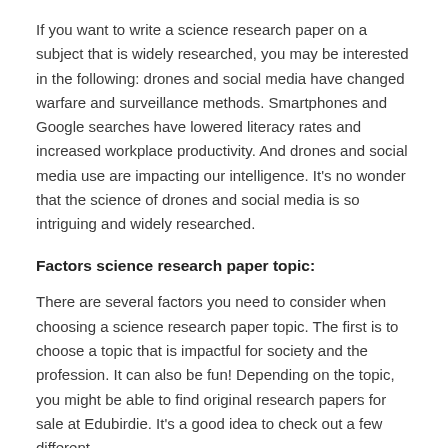If you want to write a science research paper on a subject that is widely researched, you may be interested in the following: drones and social media have changed warfare and surveillance methods. Smartphones and Google searches have lowered literacy rates and increased workplace productivity. And drones and social media use are impacting our intelligence. It's no wonder that the science of drones and social media is so intriguing and widely researched.
Factors science research paper topic:
There are several factors you need to consider when choosing a science research paper topic. The first is to choose a topic that is impactful for society and the profession. It can also be fun! Depending on the topic, you might be able to find original research papers for sale at Edubirdie. It's a good idea to check out a few different